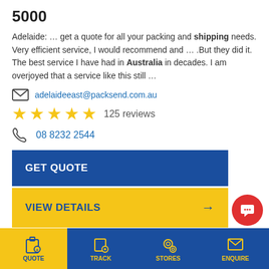5000
Adelaide: … get a quote for all your packing and shipping needs. Very efficient service, I would recommend and … .But they did it. The best service I have had in Australia in decades. I am overjoyed that a service like this still …
adelaideeast@packsend.com.au
125 reviews
08 8232 2544
GET QUOTE
VIEW DETAILS →
PACK & SEND Fremantle
QUOTE  TRACK  STORES  ENQUIRE